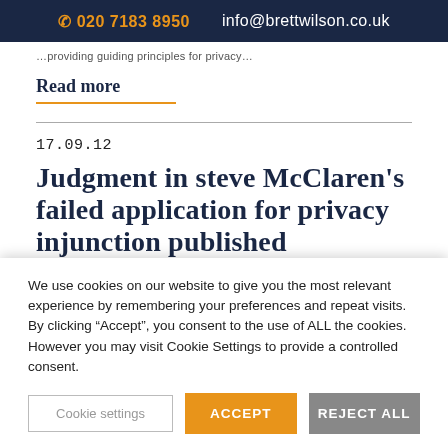020 7183 8950   info@brettwilson.co.uk
…partial text (truncated at top)…
Read more
17.09.12
Judgment in steve McClaren's failed application for privacy injunction published
We use cookies on our website to give you the most relevant experience by remembering your preferences and repeat visits. By clicking “Accept”, you consent to the use of ALL the cookies. However you may visit Cookie Settings to provide a controlled consent.